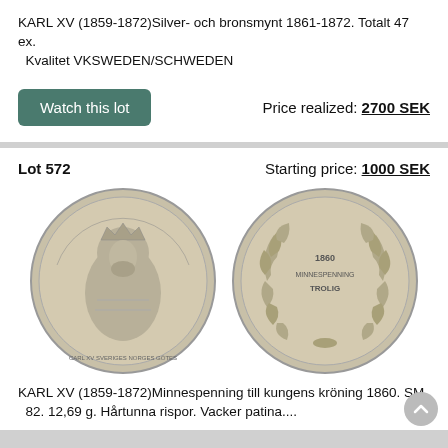KARL XV (1859-1872)Silver- och bronsmynt 1861-1872. Totalt 47 ex. Kvalitet VKSWEDEN/SCHWEDEN
Watch this lot
Price realized: 2700 SEK
Lot 572
Starting price: 1000 SEK
[Figure (photo): Two silver coins/medals showing obverse with crowned portrait of Karl XV and reverse with laurel wreath and inscription]
KARL XV (1859-1872)Minnespenning till kungens kröning 1860. SM 82. 12,69 g. Hårtunna rispor. Vacker patina....